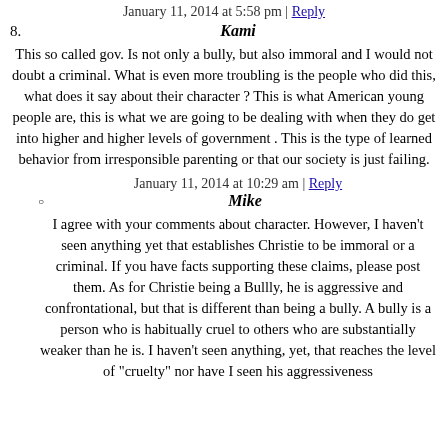January 11, 2014 at 5:58 pm | Reply
8. Kami
This so called gov. Is not only a bully, but also immoral and I would not doubt a criminal. What is even more troubling is the people who did this, what does it say about their character ? This is what American young people are, this is what we are going to be dealing with when they do get into higher and higher levels of government . This is the type of learned behavior from irresponsible parenting or that our society is just failing.
January 11, 2014 at 10:29 am | Reply
Mike
I agree with your comments about character. However, I haven't seen anything yet that establishes Christie to be immoral or a criminal. If you have facts supporting these claims, please post them. As for Christie being a Bullly, he is aggressive and confrontational, but that is different than being a bully. A bully is a person who is habitually cruel to others who are substantially weaker than he is. I haven't seen anything, yet, that reaches the level of "cruelty" nor have I seen his aggressiveness